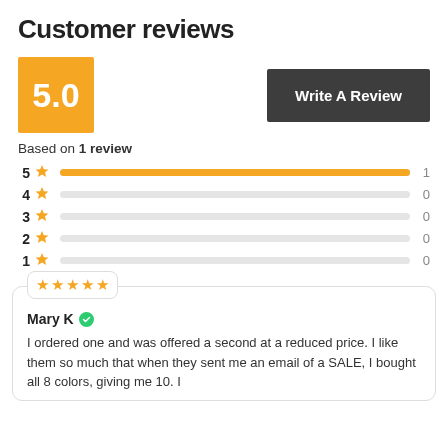Customer reviews
[Figure (infographic): Rating score box showing 5.0 in orange square, and Write A Review button]
Based on 1 review
[Figure (bar-chart): Star rating distribution]
[Figure (infographic): Review card with 5 star rating from Mary K (verified), text: I ordered one and was offered a second at a reduced price. I like them so much that when they sent me an email of a SALE, I bought all 8 colors, giving me 10. I]
Mary K
I ordered one and was offered a second at a reduced price. I like them so much that when they sent me an email of a SALE, I bought all 8 colors, giving me 10. I